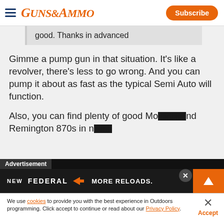GUNS&AMMO | Subscribe
good. Thanks in advanced
Gimme a pump gun in that situation. It's like a revolver, there's less to go wrong. And you can pump it about as fast as the typical Semi Auto will function.
Also, you can find plenty of good Mo...nd Remington 870s in n...
[Figure (screenshot): Federal advertisement banner: NEW FEDERAL MORE RELOADS.]
We use cookies to provide you with the best experience in Outdoors programming. Click accept to continue or read about our Privacy Policy.